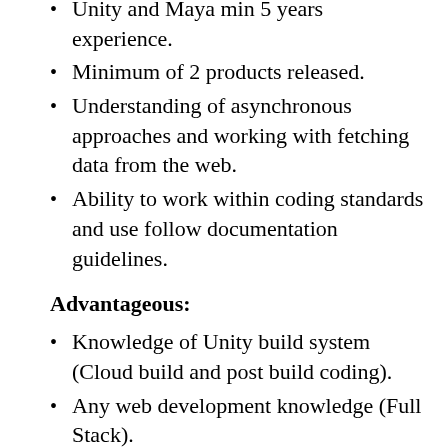Unity and Maya min 5 years experience.
Minimum of 2 products released.
Understanding of asynchronous approaches and working with fetching data from the web.
Ability to work within coding standards and use follow documentation guidelines.
Advantageous:
Knowledge of Unity build system (Cloud build and post build coding).
Any web development knowledge (Full Stack).